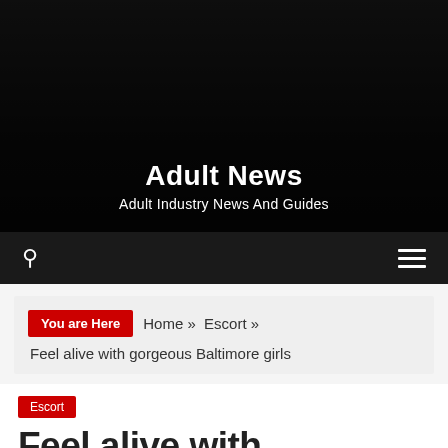Adult News — Adult Industry News And Guides
[Figure (screenshot): Website header with red top bar containing a chevron icon, black hero area with site title and subtitle, and dark navigation bar with search and hamburger menu icons]
You are Here  Home » Escort »
Feel alive with gorgeous Baltimore girls
Escort
Feel alive with gorgeous